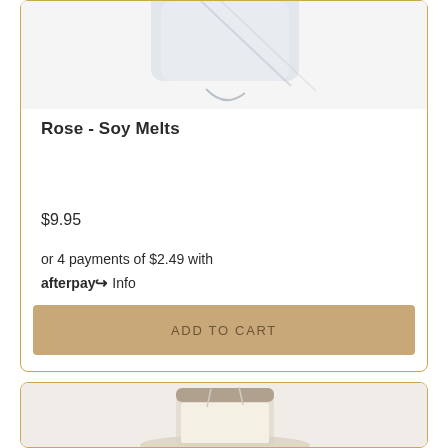[Figure (photo): Partial view of a soy wax melt product (top of card, image cropped at top)]
Rose - Soy Melts
$9.95
or 4 payments of $2.49 with afterpay Info
ADD TO CART
[Figure (photo): A glass candle with cream-colored wax and two wicks, on a reflective surface, partially visible at bottom of page]